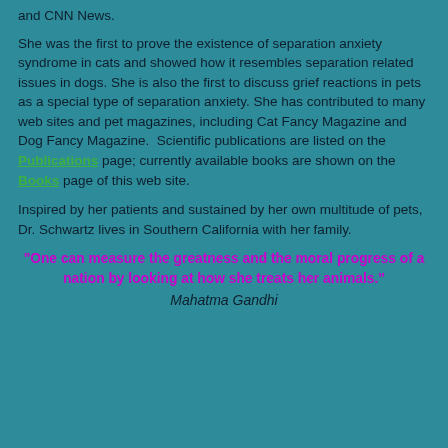and CNN News.
She was the first to prove the existence of separation anxiety syndrome in cats and showed how it resembles separation related issues in dogs. She is also the first to discuss grief reactions in pets as a special type of separation anxiety. She has contributed to many web sites and pet magazines, including Cat Fancy Magazine and Dog Fancy Magazine. Scientific publications are listed on the Publications page; currently available books are shown on the Books page of this web site.
Inspired by her patients and sustained by her own multitude of pets, Dr. Schwartz lives in Southern California with her family.
"One can measure the greatness and the moral progress of a nation by looking at how she treats her animals."
Mahatma Gandhi